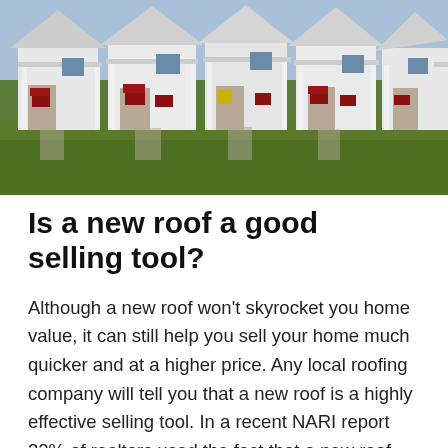[Figure (photo): Photograph of a row of small white houses with front porches and red furniture, set on a green lawn.]
Is a new roof a good selling tool?
Although a new roof won't skyrocket you home value, it can still help you sell your home much quicker and at a higher price. Any local roofing company will tell you that a new roof is a highly effective selling tool. In a recent NARI report 32% of realtors used the fact that a new roof replacement was done to the home to finalize the sale. Buyers are very attracted